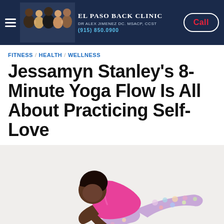El Paso Back Clinic | Dr Alex Jimenez DC. MSACP, CCST | (915) 850.0900 | Call
FITNESS / HEALTH / WELLNESS
Jessamyn Stanley’s 8-Minute Yoga Flow Is All About Practicing Self-Love
[Figure (photo): Woman in pink top and floral leggings performing a yoga pose (plank/crow variation) on a white background]